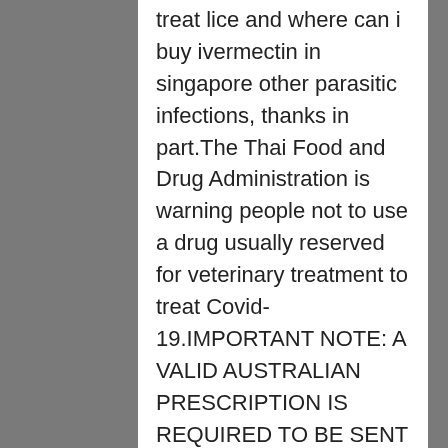treat lice and where can i buy ivermectin in singapore other parasitic infections, thanks in part.The Thai Food and Drug Administration is warning people not to use a drug usually reserved for veterinary treatment to treat Covid-19.IMPORTANT NOTE: A VALID AUSTRALIAN PRESCRIPTION IS REQUIRED TO BE SENT BY POST BEFORE THIS ITEM CAN BE SHIPPED LEARN MORE.Rosacea is a skin disease that causes redness and pimples on your nose, cheeks, chin, and forehead.Some studies of ivermectin have also reported